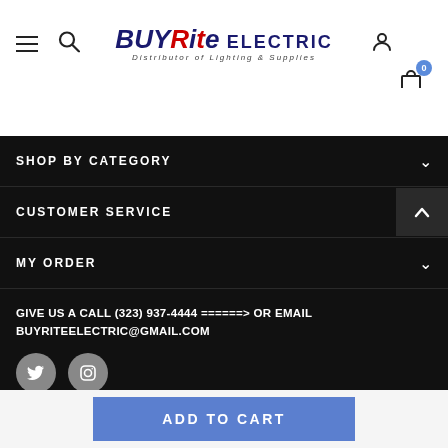[Figure (logo): BuyRite Electric logo — Distributor of Lighting & Supplies]
SHOP BY CATEGORY
CUSTOMER SERVICE
MY ORDER
GIVE US A CALL (323) 937-4444 ======> OR EMAIL BUYRITEELECTRIC@GMAIL.COM
[Figure (illustration): Social media icons: Twitter and Instagram circles]
ADD TO CART